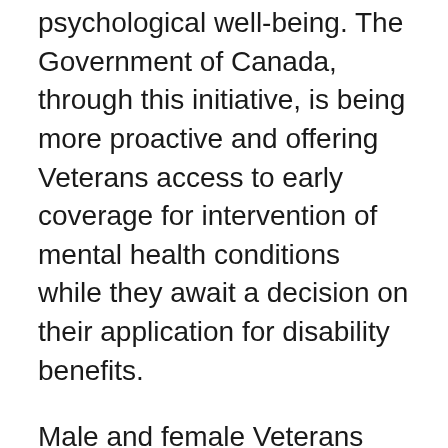psychological well-being. The Government of Canada, through this initiative, is being more proactive and offering Veterans access to early coverage for intervention of mental health conditions while they await a decision on their application for disability benefits.
Male and female Veterans equally will receive immediate access to coverage upon application for disability benefits for the most common mental health conditions. VAC remains committed to monitoring and ensuring any gaps related to GBA+ are identified and mitigated when delivering